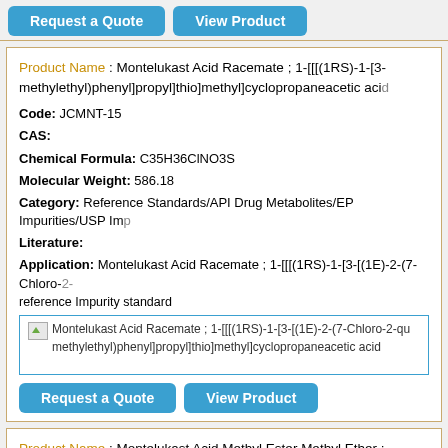[Figure (other): Top button bar with Request a Quote and View Product buttons]
Product Name : Montelukast Acid Racemate ; 1-[[[(1RS)-1-[3-methylethyl)phenyl]propyl]thio]methyl]cyclopropaneacetic acid
Code: JCMNT-15
CAS:
Chemical Formula: C35H36ClNO3S
Molecular Weight: 586.18
Category: Reference Standards/API Drug Metabolites/EP Impurities/USP Imp
Literature:
Application: Montelukast Acid Racemate ; 1-[[[(1RS)-1-[3-[(1E)-2-(7-Chloro-2- reference Impurity standard
[Figure (photo): Montelukast Acid Racemate ; 1-[[[(1RS)-1-[3-[(1E)-2-(7-Chloro-2-qu methylethyl)phenyl]propyl]thio]methyl]cyclopropaneacetic acid product image placeholder]
[Figure (other): Button bar with Request a Quote and View Product buttons]
Product Name : Montelukast Acid Methyl Ester Methyl Ether ; methoxy-1-methylethyl)phenyl]propyl]thio]methyl]cyclopropan
Code: JCMNT-14
CAS: